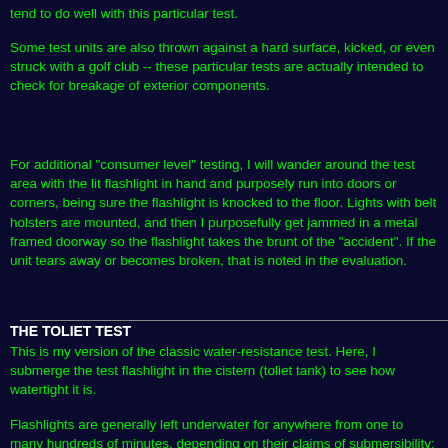tend to do well with this particular test.
Some test units are also thrown against a hard surface, kicked, or even struck with a golf club -- these particular tests are actually intended to check for breakage of exterior components.
For additional "consumer level" testing, I will wander around the test area with the lit flashlight in hand and purposely run into doors or corners, being sure the flashlight is knocked to the floor. Lights with belt holsters are mounted, and then I purposefully get jammed in a metal framed doorway so the flashlight takes the brunt of the "accident". If the unit tears away or becomes broken, that is noted in the evaluation.
THE TOLIET TEST
This is my version of the classic water-resistance test. Here, I submerge the test flashlight in the cistern (toliet tank) to see how watertight it is.
Flashlights are generally left underwater for anywhere from one to many hundreds of minutes, depending on their claims of submersibility; flashlights are also turned on and off